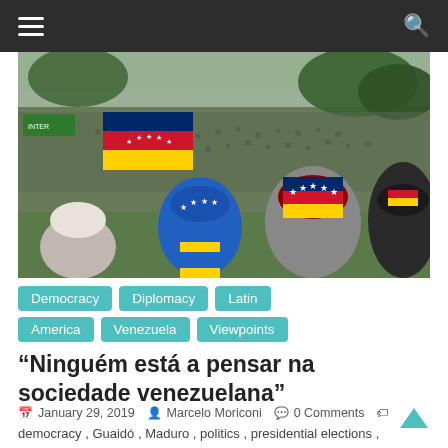Navigation bar with hamburger menu and search icon
[Figure (photo): Large crowd of people at a protest/rally in Venezuela, with Venezuelan flags visible. Taken from behind showing people wearing Venezuelan flag-themed hats and clothing, with a massive crowd filling the background.]
Democracy
Diplomacy
Latin America
Venezuela
Viewpoints
“Ninguém está a pensar na sociedade venezuelana”
January 29, 2019  Marcelo Moriconi  0 Comments
democracy, Guaidó, Maduro, politics, presidential elections, Venezuela